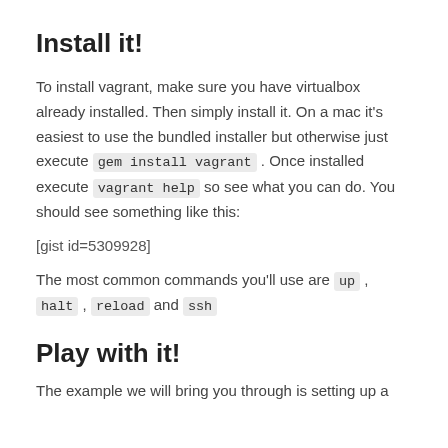Install it!
To install vagrant, make sure you have virtualbox already installed. Then simply install it. On a mac it's easiest to use the bundled installer but otherwise just execute gem install vagrant. Once installed execute vagrant help so see what you can do. You should see something like this:
[gist id=5309928]
The most common commands you'll use are up, halt, reload and ssh
Play with it!
The example we will bring you through is setting up a